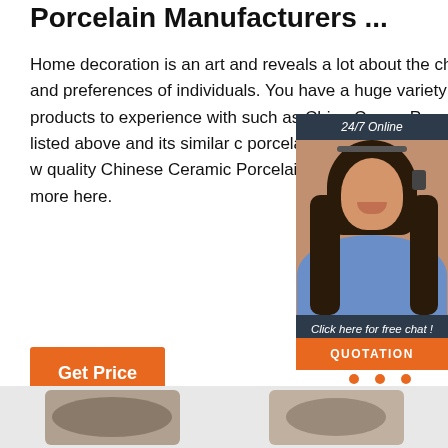Porcelain Manufacturers ...
Home decoration is an art and reveals a lot about the choices and preferences of individuals. You have a huge variety of products to experience with such as China Ceramic Porcelain listed above and its similar categories: porcelain, ceramic, gift. Match them with quality Chinese Ceramic Porcelain factories or manufacturers list and more here.
[Figure (photo): Chat widget with 24/7 Online label, photo of female customer service agent wearing headset, 'Click here for free chat!' text, and orange QUOTATION button]
[Figure (illustration): Get Price orange button]
[Figure (illustration): TOP badge with orange dots arranged in triangle above orange TOP text]
[Figure (photo): Bottom product images showing porcelain/ceramic products]